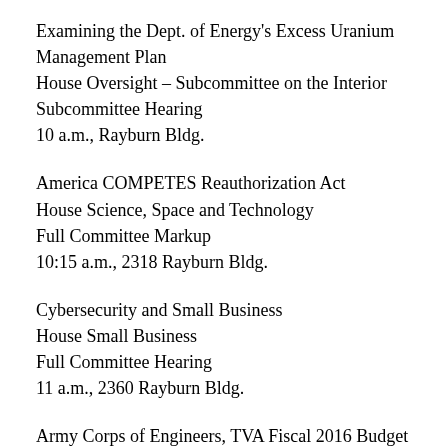Examining the Dept. of Energy's Excess Uranium Management Plan
House Oversight – Subcommittee on the Interior
Subcommittee Hearing
10 a.m., Rayburn Bldg.
America COMPETES Reauthorization Act
House Science, Space and Technology
Full Committee Markup
10:15 a.m., 2318 Rayburn Bldg.
Cybersecurity and Small Business
House Small Business
Full Committee Hearing
11 a.m., 2360 Rayburn Bldg.
Army Corps of Engineers, TVA Fiscal 2016 Budget